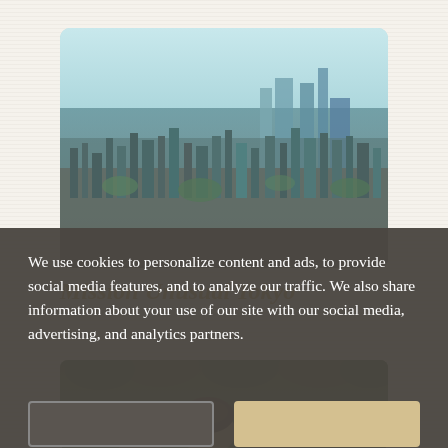[Figure (photo): Aerial panoramic view of Tokyo cityscape with dense urban buildings, skyscrapers, and hazy sky in teal/blue tones]
Mission Unusual Tokyo
[Figure (photo): Partially visible photo showing tops of people's heads against a green forested background]
We use cookies to personalize content and ads, to provide social media features, and to analyze our traffic. We also share information about your use of our site with our social media, advertising, and analytics partners.